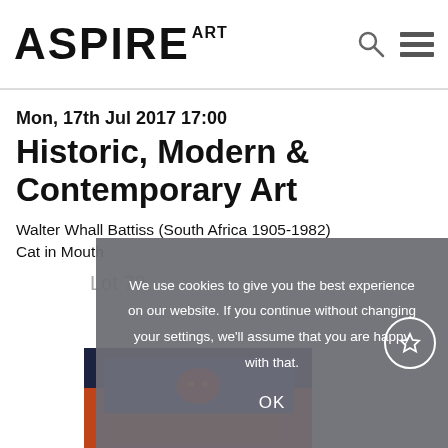ASPIRE ART
Mon, 17th Jul 2017 17:00
Historic, Modern & Contemporary Art
Walter Whall Battiss (South Africa 1905-1982)
Cat in Mouth
Lot 73
[Figure (screenshot): Cookie consent overlay with text: We use cookies to give you the best experience on our website. If you continue without changing your settings, we'll assume that you are happy with that. OK button. Star/bookmark button.]
[Figure (photo): Artwork image showing a cat painting by Walter Whall Battiss, partially visible at bottom of page.]